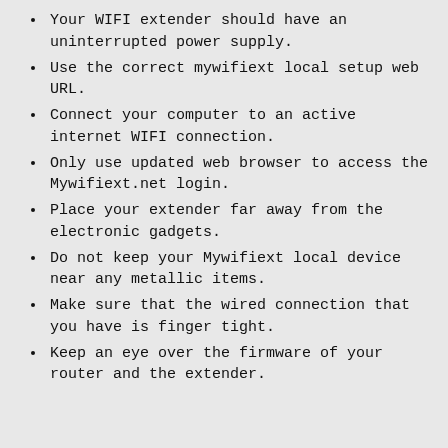Your WIFI extender should have an uninterrupted power supply.
Use the correct mywifiext local setup web URL.
Connect your computer to an active internet WIFI connection.
Only use updated web browser to access the Mywifiext.net login.
Place your extender far away from the electronic gadgets.
Do not keep your Mywifiext local device near any metallic items.
Make sure that the wired connection that you have is finger tight.
Keep an eye over the firmware of your router and the extender.